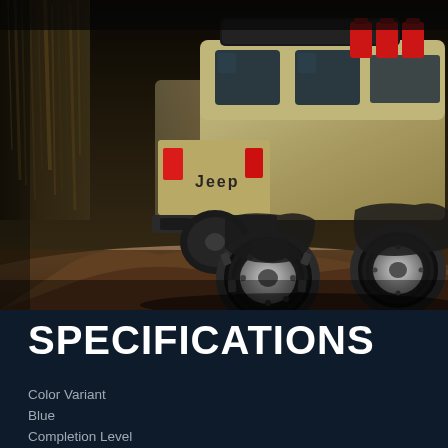[Figure (photo): RC model Jeep Gladiator truck in tan/sand color photographed from rear quarter view, climbing over rocky terrain with dry vegetation in background. Vehicle has red jerry cans and rooftop equipment visible, with knobby off-road tires.]
SPECIFICATIONS
Color Variant
Blue
Completion Level
Ready-To-Run
Drivetrain